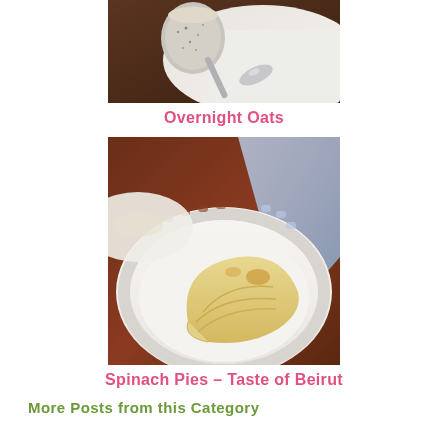[Figure (photo): Close-up photo of overnight oats in a speckled cup/bowl with a silver spoon on a white cloth, brown wooden surface]
Overnight Oats
[Figure (photo): Photo of spinach pies on a white decorative plate with scalloped edges, dark brown table background with blue cloth]
Spinach Pies – Taste of Beirut
More Posts from this Category